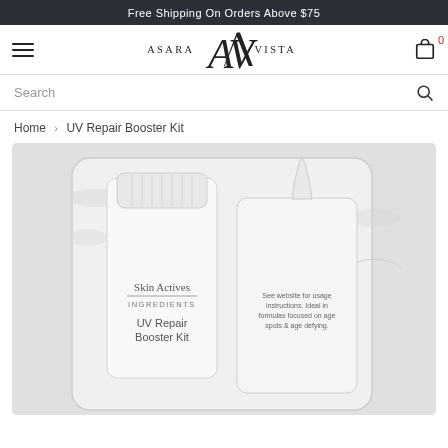Free Shipping On Orders Above $75
[Figure (logo): Asara Vista logo with stylized AV monogram]
Search
Home > UV Repair Booster Kit
[Figure (photo): UV Repair Booster Kit product photo showing a clear plastic pouch containing a white-capped bottle labeled Skin Actives INGREDIENTS UV Repair Booster Kit, alongside another bottle. Text on second bottle reads: See website for usage instructions. Ideal in formulas focused on age spots & age defying.]